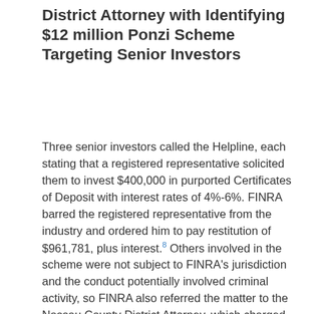District Attorney with Identifying $12 million Ponzi Scheme Targeting Senior Investors
Three senior investors called the Helpline, each stating that a registered representative solicited them to invest $400,000 in purported Certificates of Deposit with interest rates of 4%-6%. FINRA barred the registered representative from the industry and ordered him to pay restitution of $961,781, plus interest.8 Others involved in the scheme were not subject to FINRA's jurisdiction and the conduct potentially involved criminal activity, so FINRA also referred the matter to the Nassau County District Attorney, which charged the registered representative and an unregistered individual of running a Ponzi scheme that robbed 50 people, mostly senior investors, of more than $10 million and returned